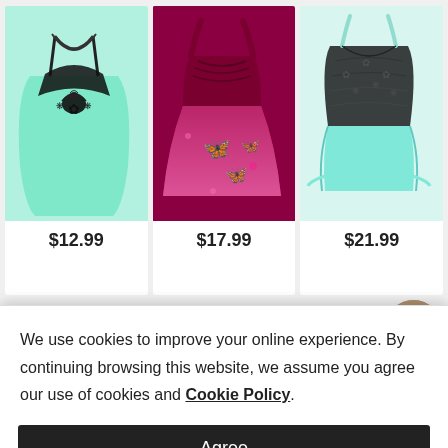[Figure (photo): Mint green tank top with black lace racerback design and floral embellishment at chest]
$12.99
[Figure (photo): Dark red/burgundy flowy tank top with pink butterfly print]
$17.99
[Figure (photo): Black lace top layered over mint/teal tube top with side tie details]
$21.99
We use cookies to improve your online experience. By continuing browsing this website, we assume you agree our use of cookies and Cookie Policy.
Agree